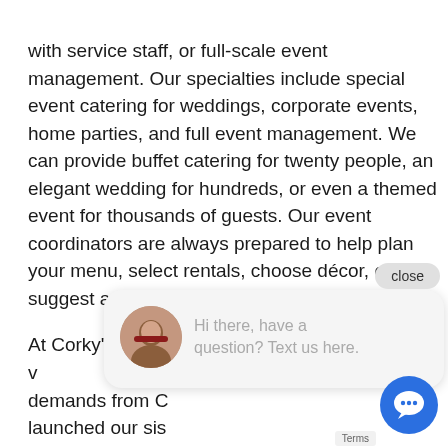with service staff, or full-scale event management. Our specialties include special event catering for weddings, corporate events, home parties, and full event management. We can provide buffet catering for twenty people, an elegant wedding for hundreds, or even a themed event for thousands of guests. Our event coordinators are always prepared to help plan your menu, select rentals, choose décor, or suggest a suitable venue for your event.
At Corky's, we recognize and understand the v... demands from C... launched our sis... Events in 2005.
Corky's Catering is dedicated to finer foods, upscale events, and complete event management. These resources allow us to bring your event to a level of sophistication and detail that is truly unmatched. Corky's Catering provides the best full-service catering
[Figure (screenshot): Chat widget overlay showing a close button and a chat bubble with avatar photo of a woman and text 'Hi there, have a question? Text us here.' in grey, plus a blue chat bubble icon in the bottom right corner]